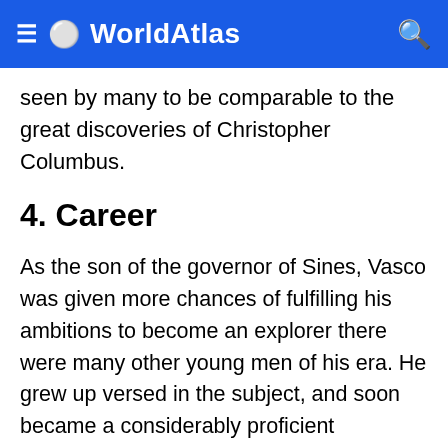≡ 🌐 WorldAtlas 🔍
seen by many to be comparable to the great discoveries of Christopher Columbus.
4. Career
As the son of the governor of Sines, Vasco was given more chances of fulfilling his ambitions to become an explorer there were many other young men of his era. He grew up versed in the subject, and soon became a considerably proficient navigator. At that time, King Manuel of Portugal was intent on finding a sea route to India, and Vasco was a natural choice for the task because of his education and his father's close ties to the court. In 1497, the king gave Vasco four ships for the expedition. It proved to be a good